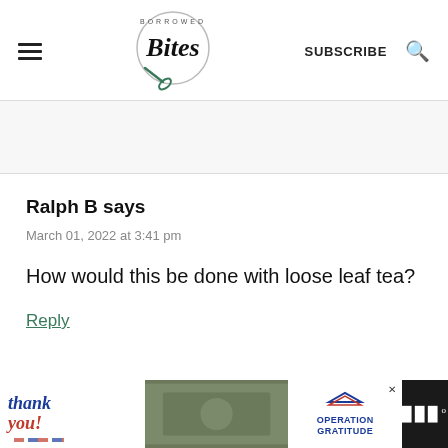Borrowed Bites — SUBSCRIBE
Ralph B says
March 01, 2022 at 3:41 pm
How would this be done with loose leaf tea?
Reply
[Figure (screenshot): Advertisement banner: Thank you Operation Gratitude with military photos]